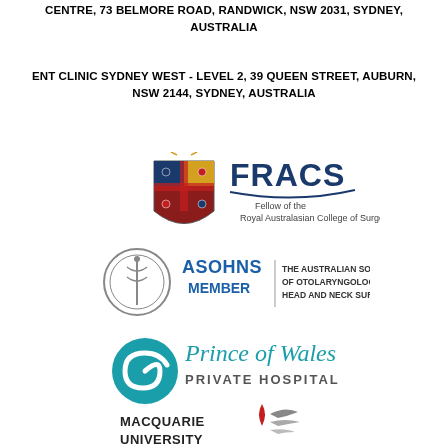CENTRE, 73 BELMORE ROAD, RANDWICK, NSW 2031, SYDNEY, AUSTRALIA
ENT CLINIC SYDNEY WEST - LEVEL 2, 39 QUEEN STREET, AUBURN, NSW 2144, SYDNEY, AUSTRALIA
[Figure (logo): FRACS - Fellow of the Royal Australasian College of Surgeons logo with heraldic shield]
[Figure (logo): ASOHNS MEMBER - The Australian Society of Otolaryngology Head and Neck Surgery logo with caduceus emblem]
[Figure (logo): Prince of Wales Private Hospital logo with teal spiral icon]
[Figure (logo): Macquarie University logo with red droplet and grey wing shapes]